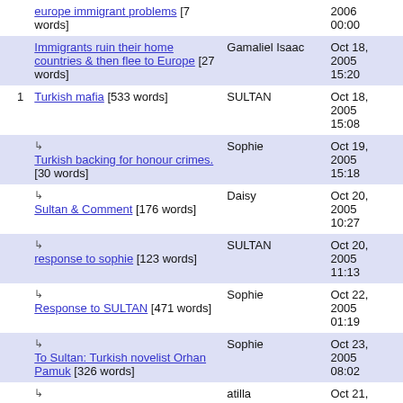| # | Title | Author | Date |
| --- | --- | --- | --- |
|  | europe immigrant problems [7 words] |  | 2006 00:00 |
|  | Immigrants ruin their home countries & then flee to Europe [27 words] | Gamaliel Isaac | Oct 18, 2005 15:20 |
| 1 | Turkish mafia [533 words] | SULTAN | Oct 18, 2005 15:08 |
|  | ↳ Turkish backing for honour crimes. [30 words] | Sophie | Oct 19, 2005 15:18 |
|  | ↳ Sultan & Comment [176 words] | Daisy | Oct 20, 2005 10:27 |
|  | ↳ response to sophie [123 words] | SULTAN | Oct 20, 2005 11:13 |
|  | ↳ Response to SULTAN [471 words] | Sophie | Oct 22, 2005 01:19 |
|  | ↳ To Sultan: Turkish novelist Orhan Pamuk [326 words] | Sophie | Oct 23, 2005 08:02 |
|  | ↳ turkish mafia [79 words] | atilla | Oct 21, 2006 |